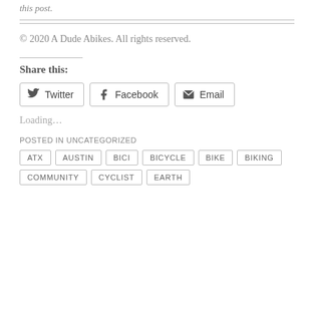this post.
© 2020 A Dude Abikes. All rights reserved.
Share this:
Twitter Facebook Email
Loading…
POSTED IN UNCATEGORIZED
ATX
AUSTIN
BICI
BICYCLE
BIKE
BIKING
COMMUNITY
CYCLIST
EARTH